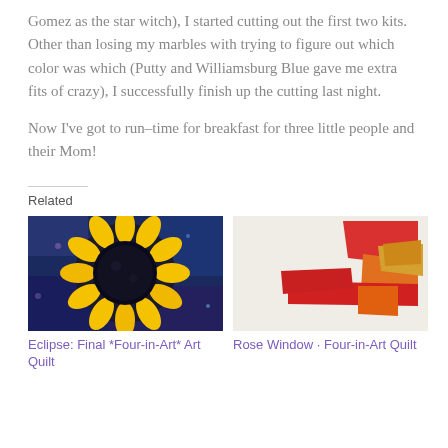Gomez as the star witch), I started cutting out the first two kits.  Other than losing my marbles with trying to figure out which color was which (Putty and Williamsburg Blue gave me extra fits of crazy), I successfully finish up the cutting last night.
Now I've got to run–time for breakfast for three little people and their Mom!
Related
[Figure (photo): A quilt art piece showing a sunflower with yellow petals on a dark blue and purple patterned background — the Eclipse Four-in-Art quilt.]
Eclipse: Final *Four-in-Art* Art Quilt
[Figure (photo): Colorful fabric pieces in red, orange, and yellow arranged loosely on a light background — Rose Window Four-in-Art Quilt.]
Rose Window · Four-in-Art Quilt